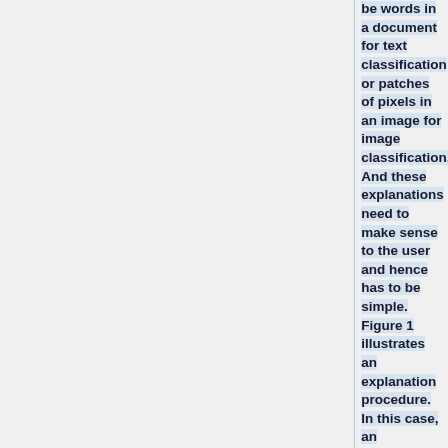be words in a document for text classification or patches of pixels in an image for image classification. And these explanations need to make sense to the user and hence has to be simple. Figure 1 illustrates an explanation procedure. In this case, an explanation is a small weighted list of symptoms that